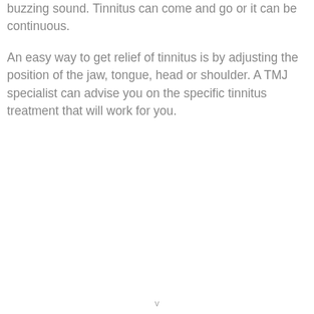buzzing sound. Tinnitus can come and go or it can be continuous.
An easy way to get relief of tinnitus is by adjusting the position of the jaw, tongue, head or shoulder. A TMJ specialist can advise you on the specific tinnitus treatment that will work for you.
v